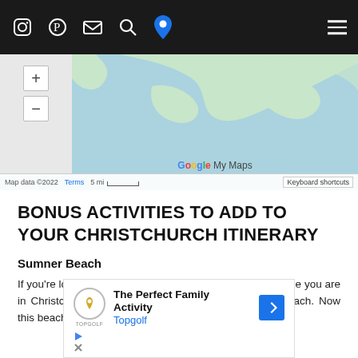Navigation bar with social icons (Instagram, Pinterest, email, search, map pin) and hamburger menu
[Figure (map): Google My Maps screenshot showing a coastal map with land masses in light green on blue water. Left sidebar shows zoom +/- buttons. Bottom bar shows 'Map data ©2022', 'Terms', '5 mi' scale bar, and 'Keyboard shortcuts'. Google My Maps logo centered at bottom of map area.]
BONUS ACTIVITIES TO ADD TO YOUR CHRISTCHURCH ITINERARY
Sumner Beach
If you're looking for a bit more beach action/relaxation while you are in Christchurch, the best one in the area is Sumner Beach. Now this beach isn't winning any prizes for its
[Figure (screenshot): Advertisement banner for Topgolf: 'The Perfect Family Activity' with Topgolf logo and blue directional arrow icon. Below are play and close icons.]